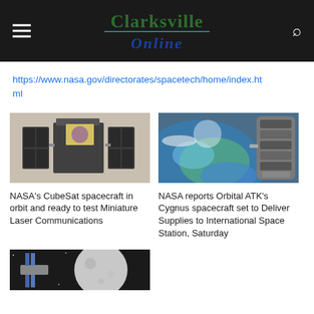Clarksville Online
https://www.nasa.gov/directorates/spacetech/home/index.html
[Figure (photo): CubeSat spacecraft with solar panels extended]
NASA's CubeSat spacecraft in orbit and ready to test Miniature Laser Communications
[Figure (photo): Orbital ATK Cygnus spacecraft near Earth as seen from orbit]
NASA reports Orbital ATK's Cygnus spacecraft set to Deliver Supplies to International Space Station, Saturday
[Figure (photo): Spacecraft near the Moon]